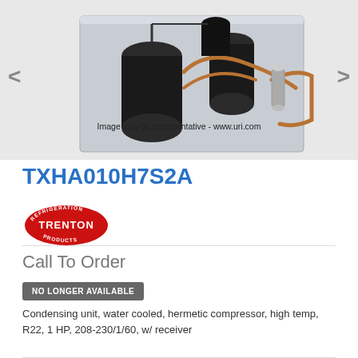[Figure (photo): Photo of a water-cooled condensing unit with hermetic compressor, copper tubing, and black cylindrical components mounted on a metal base plate. Navigation arrows (< >) on left and right sides.]
Image may be representative - www.uri.com
TXHA010H7S2A
[Figure (logo): Trenton Refrigeration Products logo - red oval badge with white text]
Call To Order
NO LONGER AVAILABLE
Condensing unit, water cooled, hermetic compressor, high temp, R22, 1 HP, 208-230/1/60, w/ receiver